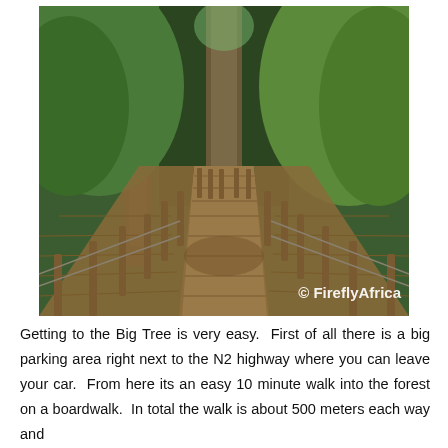[Figure (photo): A wooden boardwalk with rope railings and wooden posts winds through a lush green forest with tall trees. The path leads into the distance. A watermark reads '© FireflyAfrica' in the bottom-right corner.]
Getting to the Big Tree is very easy.  First of all there is a big parking area right next to the N2 highway where you can leave your car.  From here its an easy 10 minute walk into the forest on a boardwalk.  In total the walk is about 500 meters each way and